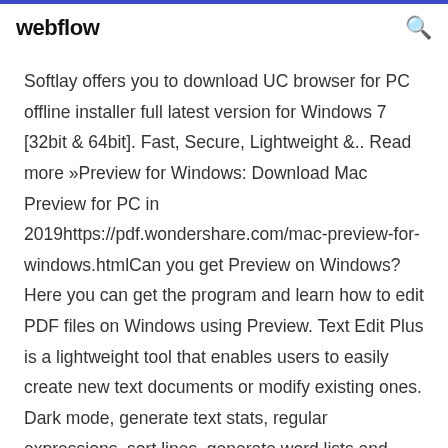webflow
Softlay offers you to download UC browser for PC offline installer full latest version for Windows 7 [32bit & 64bit]. Fast, Secure, Lightweight &.. Read more »Preview for Windows: Download Mac Preview for PC in 2019https://pdf.wondershare.com/mac-preview-for-windows.htmlCan you get Preview on Windows? Here you can get the program and learn how to edit PDF files on Windows using Preview. Text Edit Plus is a lightweight tool that enables users to easily create new text documents or modify existing ones. Dark mode, generate text stats, regular expressions, sort lines, generate word lists and many features. Instantly get a license for an operating